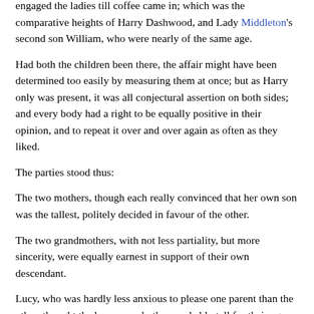engaged the ladies till coffee came in; which was the comparative heights of Harry Dashwood, and Lady Middleton's second son William, who were nearly of the same age.
Had both the children been there, the affair might have been determined too easily by measuring them at once; but as Harry only was present, it was all conjectural assertion on both sides; and every body had a right to be equally positive in their opinion, and to repeat it over and over again as often as they liked.
The parties stood thus:
The two mothers, though each really convinced that her own son was the tallest, politely decided in favour of the other.
The two grandmothers, with not less partiality, but more sincerity, were equally earnest in support of their own descendant.
Lucy, who was hardly less anxious to please one parent than the other, thought the boys were both remarkably tall for their age, and could not conceive that there could be the smallest difference in the world between them; and Miss Steele, with yet greater address gave it, as fast as she could, in favour of each.